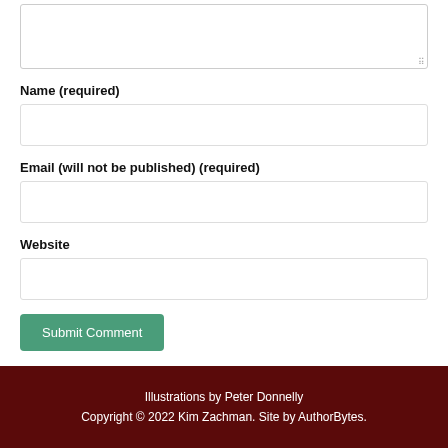[textarea - comment input box]
Name (required)
[text input - name field]
Email (will not be published) (required)
[text input - email field]
Website
[text input - website field]
Submit Comment
Illustrations by Peter Donnelly
Copyright © 2022 Kim Zachman. Site by AuthorBytes.